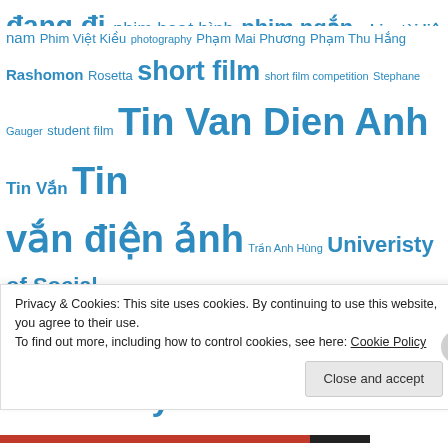dang di phim hoat hinh phim ngan phim tai lieu phim Viet nam Phim Viet Kieu photography Pham Mai Phuong Pham Thu Hang Rashomon Rosetta short film short film competition Stephane Gauger student film Tin Van Dien Anh Tin Van Tin van dien anh Tran Anh Hung Univeristy of Social Sciences and Humanties University of Delaware University of Social Sciences and Humanities usc USSH Viet Nam Vietnam vietnam cinema Vietnamese Film Ve k4 Dang Nhat Minh Do Hoa Duc Trong Duc
Privacy & Cookies: This site uses cookies. By continuing to use this website, you agree to their use. To find out more, including how to control cookies, see here: Cookie Policy
Close and accept